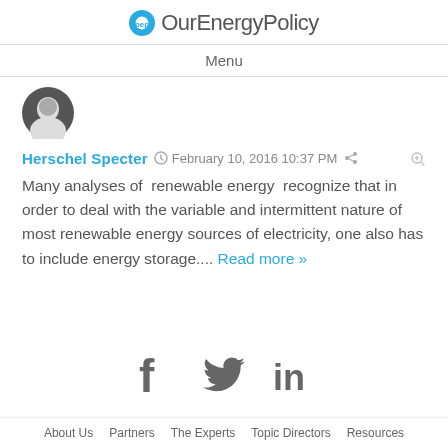OurEnergyPolicy
Menu
[Figure (photo): Circular avatar photo of Herschel Specter]
Herschel Specter  ⏱ February 10, 2016 10:37 PM  ↗  🔗
Many analyses of  renewable energy  recognize that in order to deal with the variable and intermittent nature of most renewable energy sources of electricity, one also has to include energy storage.... Read more »
[Figure (infographic): Social media icons: Facebook, Twitter, LinkedIn]
About Us   Partners   The Experts   Topic Directors   Resources